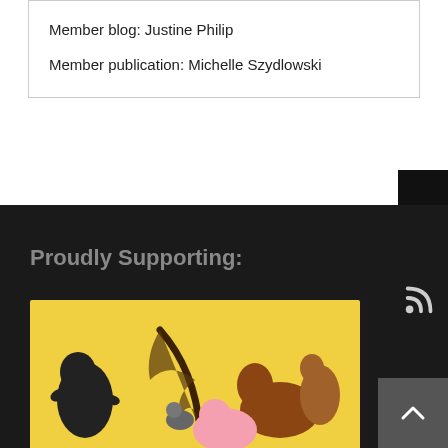Member blog: Justine Philip
Member publication: Michelle Szydlowski
Proudly Supporting:
[Figure (photo): Animal Studies Journal banner image with toy animal figures on yellow background and teal banner reading 'Animal Studies Journal']
Knowing Animals Podcast
[Figure (photo): Podcast image showing close-up of pink pig ears with text 'bla Räuche...' partially visible]